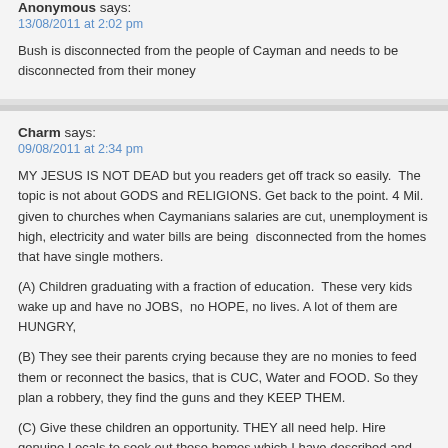Anonymous says:
13/08/2011 at 2:02 pm
Bush is disconnected from the people of Cayman and needs to be disconnected from their money
Charm says:
09/08/2011 at 2:34 pm
MY JESUS IS NOT DEAD but you readers get off track so easily.  The topic is not about GODS and RELIGIONS. Get back to the point. 4 Mil. given to churches when Caymanians salaries are cut, unemployment is high, electricity and water bills are being  disconnected from the homes that have single mothers.
(A) Children graduating with a fraction of education.  These very kids wake up and have no JOBS,  no HOPE, no lives. A lot of them are HUNGRY,
(B) They see their parents crying because they are no monies to feed them or reconnect the basics, that is CUC, Water and FOOD. So they plan a robbery, they find the guns and they KEEP THEM.
(C) Give these children an opportunity. THEY all need help. Hire genuine Locals to seek out these homes which I have described and assist them. They exist right here and they need help.